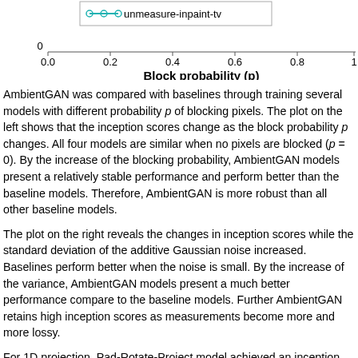[Figure (continuous-plot): Bottom portion of a line chart showing inception scores vs Block probability (p), with a legend entry for 'unmeasure-inpaint-tv' shown as a teal/cyan line with circular markers. X-axis labeled 'Block probability (p)' with ticks at 0.0, 0.2, 0.4, 0.6, 0.8, 1.]
AmbientGAN was compared with baselines through training several models with different probability p of blocking pixels. The plot on the left shows that the inception scores change as the block probability p changes. All four models are similar when no pixels are blocked (p = 0). By the increase of the blocking probability, AmbientGAN models present a relatively stable performance and perform better than the baseline models. Therefore, AmbientGAN is more robust than all other baseline models.
The plot on the right reveals the changes in inception scores while the standard deviation of the additive Gaussian noise increased. Baselines perform better when the noise is small. By the increase of the variance, AmbientGAN models present a much better performance compare to the baseline models. Further AmbientGAN retains high inception scores as measurements become more and more lossy.
For 1D projection, Pad-Rotate-Project model achieved an inception score of 4.18. Pad-Rotate-Project-θ model achieved an inception